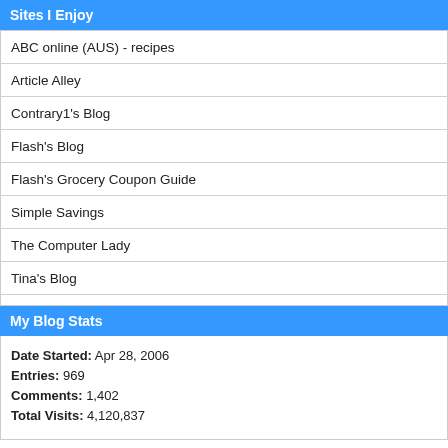Sites I Enjoy
ABC online (AUS) - recipes
Article Alley
Contrary1's Blog
Flash's Blog
Flash's Grocery Coupon Guide
Simple Savings
The Computer Lady
Tina's Blog
My Blog Stats
Date Started: Apr 28, 2006
Entries: 969
Comments: 1,402
Total Visits: 4,120,837
[Figure (logo): Credit Karma logo with tagline 'What's your score?']